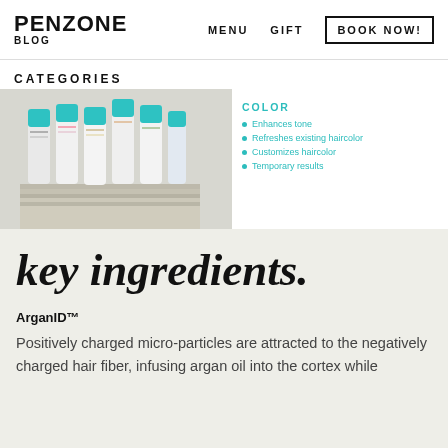PENZONE BLOG | MENU | GIFT | BOOK NOW!
CATEGORIES
[Figure (photo): Product photo showing multiple hair care tubes with teal caps arranged on a white surface with a stacked book/notebook prop. Right side shows COLOR label with bullet list: Enhances tone, Refreshes existing haircolor, Customizes haircolor, Temporary results]
key ingredients.
ArganID™
Positively charged micro-particles are attracted to the negatively charged hair fiber, infusing argan oil into the cortex while